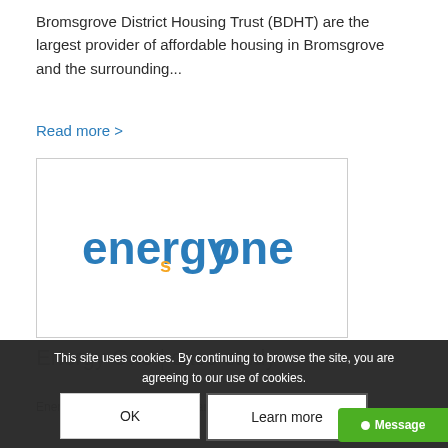Bromsgrove District Housing Trust (BDHT) are the largest provider of affordable housing in Bromsgrove and the surrounding...
Read more >
[Figure (logo): Energy One company logo — 'energyone' in blue text with an orange stylized 's' character]
This site uses cookies. By continuing to browse the site, you are agreeing to our use of cookies.
Energy One | Case Study
Energy One is a ... ier of software pro... services to wholesale energy, environmental and carbon...
OK
Learn more
Message